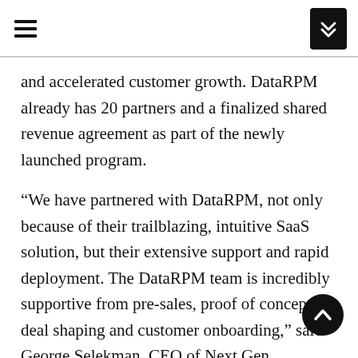and accelerated customer growth. DataRPM already has 20 partners and a finalized shared revenue agreement as part of the newly launched program.
“We have partnered with DataRPM, not only because of their trailblazing, intuitive SaaS solution, but their extensive support and rapid deployment. The DataRPM team is incredibly supportive from pre-sales, proof of concepts, deal shaping and customer onboarding,” said George Selekman, CEO of Next Gen Sustainable Solutions, Inc.